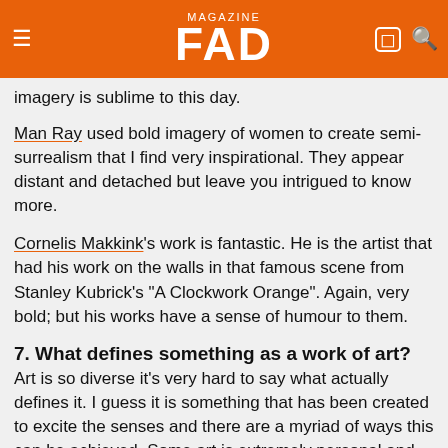FAD magazine
I am particularly inspired by the work of Aubrey Beardsley – his compositions are often daringly abstract and very striking, and his use of erotic and macabre imagery is sublime to this day.
Man Ray used bold imagery of women to create semi-surrealism that I find very inspirational. They appear distant and detached but leave you intrigued to know more.
Cornelis Makkink's work is fantastic. He is the artist that had his work on the walls in that famous scene from Stanley Kubrick's "A Clockwork Orange". Again, very bold; but his works have a sense of humour to them.
7. What defines something as a work of art?
Art is so diverse it’s very hard to say what actually defines it. I guess it is something that has been created to excite the senses and there are a myriad of ways this can be achieved. Some art is extremely personal and introverted; whereas other works are purely created to